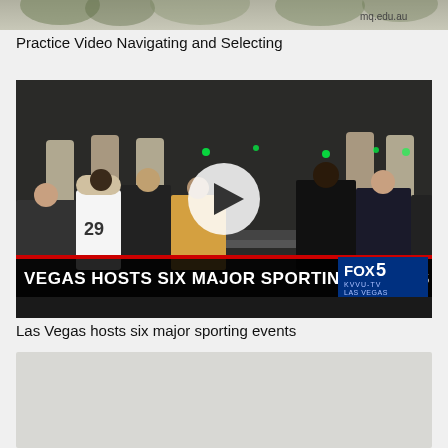[Figure (screenshot): Top portion of a screenshot showing a blurred/cropped image with mq.edu.au watermark in the top right corner]
Practice Video Navigating and Selecting
[Figure (screenshot): Video thumbnail showing a crowd scene at night with security barriers and people in sports jerseys. A play button is overlaid in the center. A lower-third chyron reads 'VEGAS HOSTS SIX MAJOR SPORTING EVENTS' with FOX 5 KVVU-TV LAS VEGAS branding.]
Las Vegas hosts six major sporting events
[Figure (screenshot): Partial screenshot of another video thumbnail, mostly gray/blank at the bottom of the page]